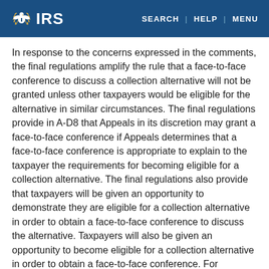IRS | SEARCH | HELP | MENU
In response to the concerns expressed in the comments, the final regulations amplify the rule that a face-to-face conference to discuss a collection alternative will not be granted unless other taxpayers would be eligible for the alternative in similar circumstances. The final regulations provide in A-D8 that Appeals in its discretion may grant a face-to-face conference if Appeals determines that a face-to-face conference is appropriate to explain to the taxpayer the requirements for becoming eligible for a collection alternative. The final regulations also provide that taxpayers will be given an opportunity to demonstrate they are eligible for a collection alternative in order to obtain a face-to-face conference to discuss the alternative. Taxpayers will also be given an opportunity to become eligible for a collection alternative in order to obtain a face-to-face conference. For example, under the final regulations, if a taxpayer appears to have failed to file all required returns (and thus appears not to be eligible for an offer to compromise or an installment